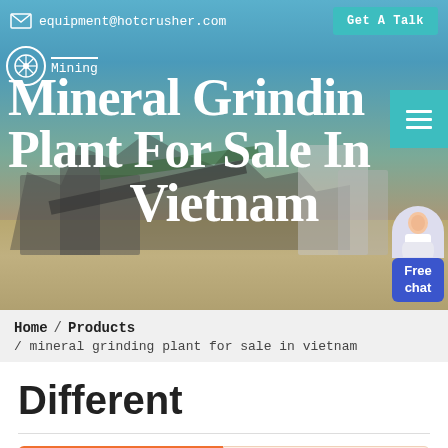equipment@hotcrusher.com   Get A Talk
[Figure (photo): Hero banner showing industrial mineral grinding/crushing plant equipment with conveyors and machinery against a blue sky background. Company logo with snowflake-like icon and 'Mining' text on left. Hamburger menu button (teal) on right.]
Mineral Grinding Plant For Sale In Vietnam
[Figure (illustration): Chat widget with female customer service representative figure and blue 'Free chat' button]
Home / Products / mineral grinding plant for sale in vietnam
Different
Get a Quote   WhatsApp